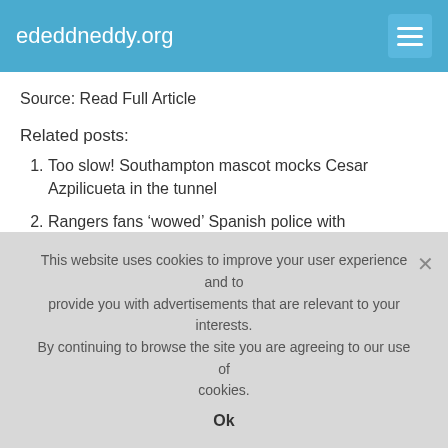ededdneddy.org
Source: Read Full Article
Related posts:
Too slow! Southampton mascot mocks Cesar Azpilicueta in the tunnel
Rangers fans ‘wowed’ Spanish police with impeccable behaviour in Seville
Liverpool ready to ‘break the bank’ on Mane replacement as transfer plans emerge
Tottenham vs Antwerp live stream: How to watch Europa
This website uses cookies to improve your user experience and to provide you with advertisements that are relevant to your interests. By continuing to browse the site you are agreeing to our use of cookies.
Ok